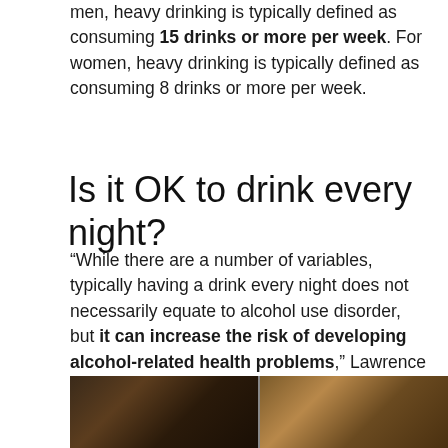men, heavy drinking is typically defined as consuming 15 drinks or more per week. For women, heavy drinking is typically defined as consuming 8 drinks or more per week.
Is it OK to drink every night?
“While there are a number of variables, typically having a drink every night does not necessarily equate to alcohol use disorder, but it can increase the risk of developing alcohol-related health problems,” Lawrence Weinstein, MD, Chief Medical Officer at American Addiction Centers tells WebMD Connect to Care.
[Figure (photo): Two side-by-side photos at the bottom of the page, dark-toned images, partially visible]